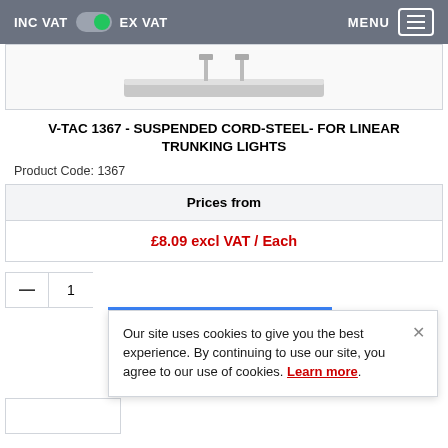INC VAT  EX VAT  MENU
[Figure (photo): Partial product image of a suspended cord/steel accessory for linear trunking lights, shown against white background inside a bordered box]
V-TAC 1367 - SUSPENDED CORD-STEEL- FOR LINEAR TRUNKING LIGHTS
Product Code: 1367
| Prices from |
| --- |
| £8.09 excl VAT / Each |
- 1
Our site uses cookies to give you the best experience. By continuing to use our site, you agree to our use of cookies. Learn more.